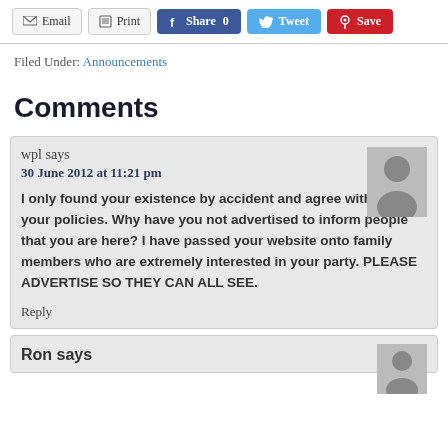Email | Print | Share 0 | Tweet | Save
Filed Under: Announcements
Comments
wpl says
30 June 2012 at 11:21 pm
I only found your existence by accident and agree with most of your policies. Why have you not advertised to inform people that you are here? I have passed your website onto family members who are extremely interested in your party. PLEASE ADVERTISE SO THEY CAN ALL SEE.
Reply
Ron says